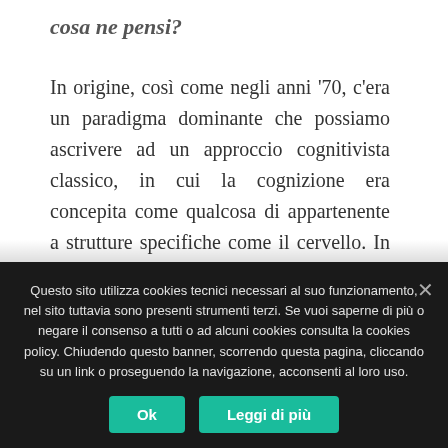cosa ne pensi?
In origine, così come negli anni '70, c'era un paradigma dominante che possiamo ascrivere ad un approccio cognitivista classico, in cui la cognizione era concepita come qualcosa di appartenente a strutture specifiche come il cervello. In questa prospettiva il cervello opera
Questo sito utilizza cookies tecnici necessari al suo funzionamento, nel sito tuttavia sono presenti strumenti terzi. Se vuoi saperne di più o negare il consenso a tutti o ad alcuni cookies consulta la cookies policy. Chiudendo questo banner, scorrendo questa pagina, cliccando su un link o proseguendo la navigazione, acconsenti al loro uso.
Ok
Leggi di più